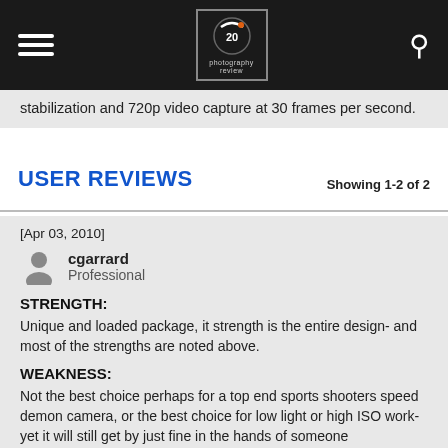Photography Review navigation bar with logo, hamburger menu, and search icon
stabilization and 720p video capture at 30 frames per second.
USER REVIEWS
Showing 1-2 of 2
[Apr 03, 2010]
cgarrard
Professional
STRENGTH:
Unique and loaded package, it strength is the entire design- and most of the strengths are noted above.
WEAKNESS:
Not the best choice perhaps for a top end sports shooters speed demon camera, or the best choice for low light or high ISO work- yet it will still get by just fine in the hands of someone experienced who knows how to coax the best out of it.
Pentax K7- Uncommonly good overall package, build, quiet shutter/mirror cycle, features, compactness, comfortable, versatile, weatherproof and cold resistant, and just downright lovable.
Once in a while a camera manufacturer will produce one of those cameras that